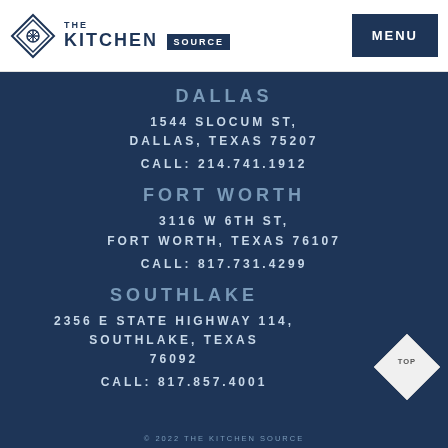THE KITCHEN SOURCE | MENU
DALLAS
1544 SLOCUM ST, DALLAS, TEXAS 75207
CALL: 214.741.1912
FORT WORTH
3116 W 6TH ST, FORT WORTH, TEXAS 76107
CALL: 817.731.4299
SOUTHLAKE
2356 E STATE HIGHWAY 114, SOUTHLAKE, TEXAS 76092
CALL: 817.857.4001
© 2022 THE KITCHEN SOURCE